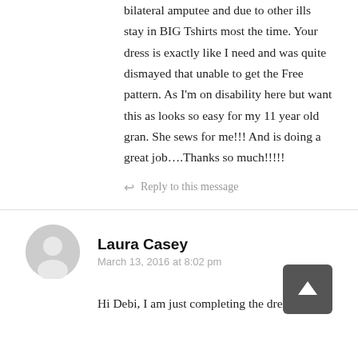bilateral amputee and due to other ills stay in BIG Tshirts most the time. Your dress is exactly like I need and was quite dismayed that unable to get the Free pattern. As I'm on disability here but want this as looks so easy for my 11 year old gran. She sews for me!!! And is doing a great job….Thanks so much!!!!!
↩ Reply to this message
Laura Casey
March 13, 2016 at 8:02 pm
Hi Debi, I am just completing the dress